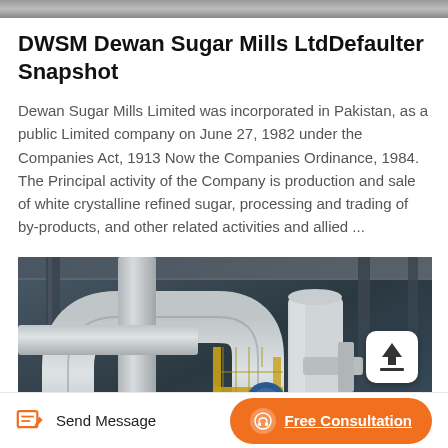[Figure (photo): Top strip showing partial industrial/machinery image]
DWSM Dewan Sugar Mills LtdDefaulter Snapshot
Dewan Sugar Mills Limited was incorporated in Pakistan, as a public Limited company on June 27, 1982 under the Companies Act, 1913 Now the Companies Ordinance, 1984. The Principal activity of the Company is production and sale of white crystalline refined sugar, processing and trading of by-products, and other related activities and allied ...
[Figure (photo): Industrial factory interior showing large pipes, ventilation ducts, yellow scaffolding structure, blue motor/pump element, and steel framework in a sugar mill facility]
Send Message   Free Consultation